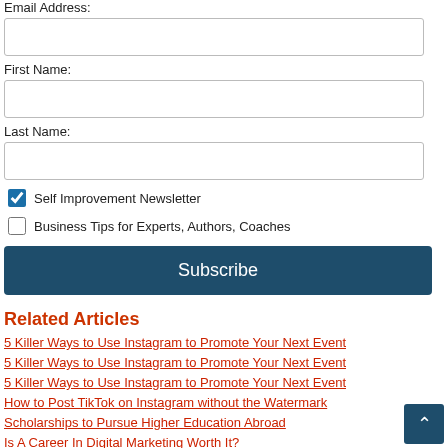Email Address:
First Name:
Last Name:
Self Improvement Newsletter
Business Tips for Experts, Authors, Coaches
Subscribe
Related Articles
5 Killer Ways to Use Instagram to Promote Your Next Event
5 Killer Ways to Use Instagram to Promote Your Next Event
5 Killer Ways to Use Instagram to Promote Your Next Event
How to Post TikTok on Instagram without the Watermark
Scholarships to Pursue Higher Education Abroad
Is A Career In Digital Marketing Worth It?